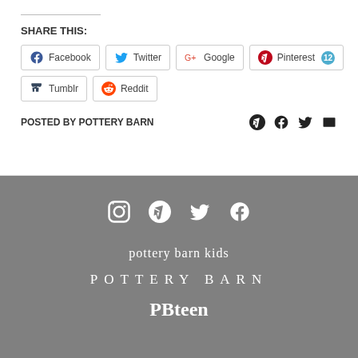SHARE THIS:
[Figure (screenshot): Social share buttons: Facebook, Twitter, Google+, Pinterest (12), Tumblr, Reddit]
POSTED BY POTTERY BARN
[Figure (infographic): Footer with social icons (Instagram, Pinterest, Twitter, Facebook) and brand logos: pottery barn kids, POTTERY BARN, PBteen]